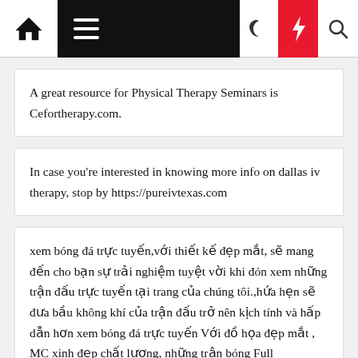Navigation bar with home icon, hamburger menu, moon icon, lightning icon, search icon
A great resource for Physical Therapy Seminars is Cefortherapy.com.
In case you're interested in knowing more info on dallas iv therapy, stop by https://pureivtexas.com
xem bóng đá trực tuyến,với thiết kế đẹp mắt, sẽ mang đến cho bạn sự trải nghiệm tuyệt vời khi đón xem những trận đấu trực tuyến tại trang của chúng tôi.,hứa hẹn sẽ đưa bầu không khí của trận đấu trở nên kịch tính và hấp dẫn hơn xem bóng đá trực tuyến Với đồ họa đẹp mắt , MC xinh đẹp chất lượng, những trận bóng Full